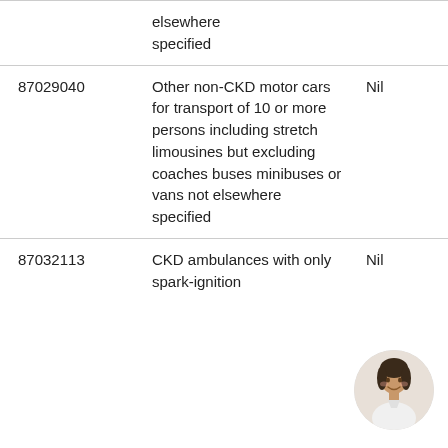| Code | Description | Duty | Rate |
| --- | --- | --- | --- |
|  | elsewhere specified |  |  |
| 87029040 | Other non-CKD motor cars for transport of 10 or more persons including stretch limousines but excluding coaches buses minibuses or vans not elsewhere specified | Nil | 20% |
| 87032113 | CKD ambulances with only spark-ignition | Nil | 20% |